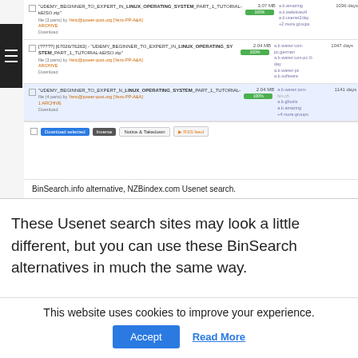[Figure (screenshot): Screenshot of NZBindex.com Usenet search interface showing search results for UDEMY_BEGINNER_TO_EXPERT_IN_LINUX_OPERATING_SYSTEM_PART_1_TUTORIAL-kEISO.zip with file sizes, progress bars, newsgroup names, and age in days. Bottom toolbar shows Download selected, Inverse, Notice & Takedown, and RSS feed buttons.]
BinSearch.info alternative, NZBindex.com Usenet search.
These Usenet search sites may look a little different, but you can use these BinSearch alternatives in much the same way.
This website uses cookies to improve your experience.